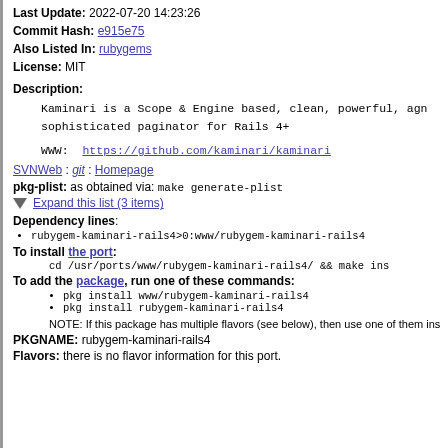Last Update: 2022-07-20 14:23:26
Commit Hash: e915e75
Also Listed In: rubygems
License: MIT
Description:
Kaminari is a Scope & Engine based, clean, powerful, agnostic sophisticated paginator for Rails 4+

WWW: https://github.com/kaminari/kaminari
SVNWeb : git : Homepage
pkg-plist: as obtained via: make generate-plist
Expand this list (3 items)
Dependency lines:
rubygem-kaminari-rails4>0:www/rubygem-kaminari-rails4
To install the port:
cd /usr/ports/www/rubygem-kaminari-rails4/ && make ins
To add the package, run one of these commands:
pkg install www/rubygem-kaminari-rails4
pkg install rubygem-kaminari-rails4
NOTE: If this package has multiple flavors (see below), then use one of them ins
PKGNAME: rubygem-kaminari-rails4
Flavors: there is no flavor information for this port.